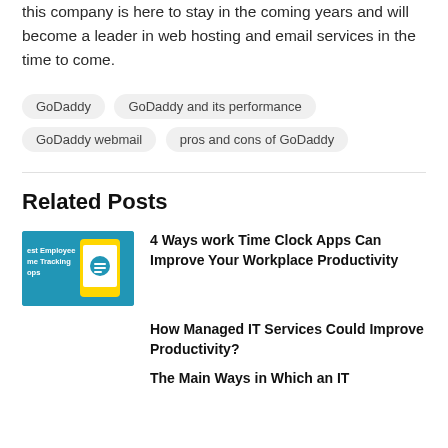this company is here to stay in the coming years and will become a leader in web hosting and email services in the time to come.
GoDaddy
GoDaddy and its performance
GoDaddy webmail
pros and cons of GoDaddy
Related Posts
[Figure (photo): Best Employee Time Tracking Apps – smartphone with app displayed]
4 Ways work Time Clock Apps Can Improve Your Workplace Productivity
How Managed IT Services Could Improve Productivity?
The Main Ways in Which an IT